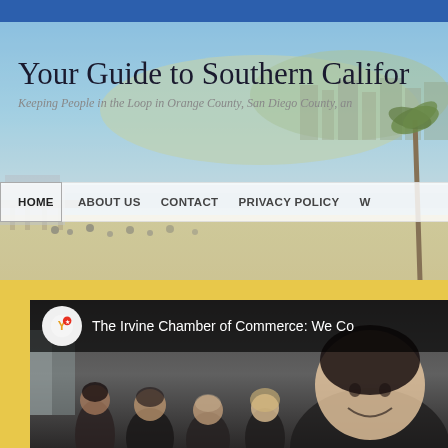Your Guide to Southern Califor
Keeping People in the Loop in Orange County, San Diego County, an
HOME   ABOUT US   CONTACT   PRIVACY POLICY   W
[Figure (screenshot): Screenshot of a Southern California guide website homepage showing a beach/coastal city panoramic header photo with blue sky, beach, and palm trees. Below is a yellow background section with a YouTube video thumbnail showing 'The Irvine Chamber of Commerce: We Co...' with a channel icon and people in business attire.]